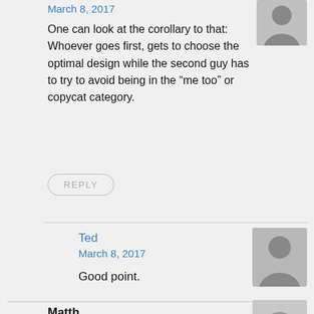March 8, 2017
One can look at the corollary to that:
Whoever goes first, gets to choose the optimal design while the second guy has to try to avoid being in the “me too” or copycat category.
REPLY
Ted
March 8, 2017
Good point.
Matth
March 6, 2017